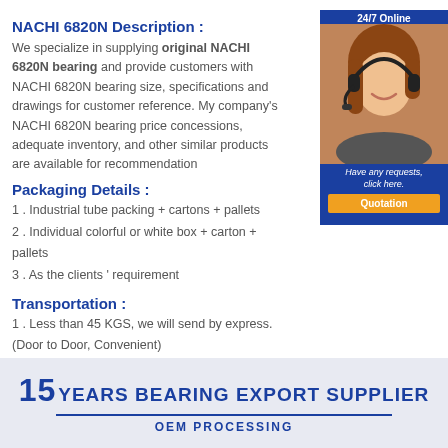NACHI 6820N Description :
We specialize in supplying original NACHI 6820N bearing and provide customers with NACHI 6820N bearing size, specifications and drawings for customer reference. My company's NACHI 6820N bearing price concessions, adequate inventory, and other similar products are available for recommendation
Packaging Details :
1 . Industrial tube packing + cartons + pallets
2 . Individual colorful or white box + carton + pallets
3 . As the clients ' requirement
[Figure (photo): Customer service representative with headset, 24/7 Online badge and Quotation button]
Transportation :
1 . Less than 45 KGS, we will send by express. (Door to Door, Convenient)
2 . 45 - 200 KGS , we will send by air transport . (Fastest and safest, but expensive)
3 . More than 200 KGS, we will send by sea . ( Cheapest and common use )
[Figure (infographic): 15 YEARS BEARING EXPORT SUPPLIER / OEM PROCESSING banner on light blue background]